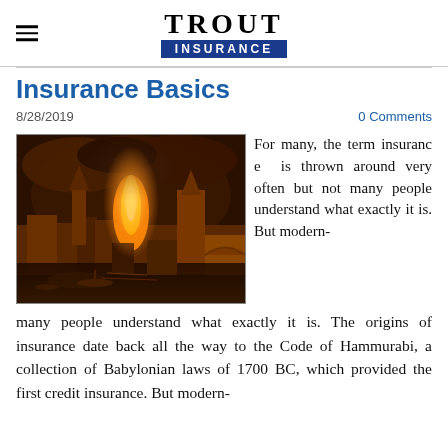TROUT INSURANCE
Insurance Basics
8/28/2019
0 Comments
[Figure (photo): Historical painting depicting a large fire in a city, likely the Great Fire of London, with burning buildings, church towers, and boats on a river in the foreground under dark smoky skies.]
For many, the term insurance is thrown around very often but not many people understand what exactly it is. The origins of insurance date back all the way to the Code of Hammurabi, a collection of Babylonian laws of 1700 BC, which provided the first credit insurance. But modern-